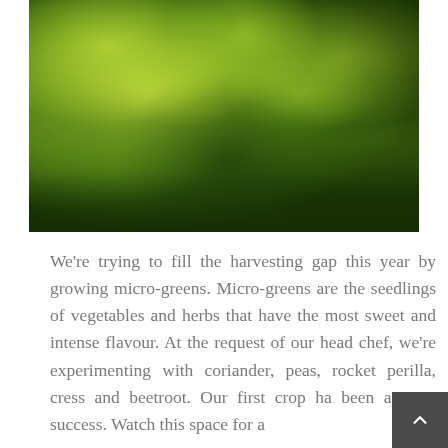[Figure (photo): Close-up photograph of green micro-green seedlings (young vegetable/herb sprouts) growing in dark soil, with bright yellow-green leaves against a dark background]
We're trying to fill the harvesting gap this year by growing micro-greens. Micro-greens are the seedlings of vegetables and herbs that have the most sweet and intense flavour. At the request of our head chef, we're experimenting with coriander, peas, rocket perilla, cress and beetroot. Our first crop has been a great success. Watch this space for a